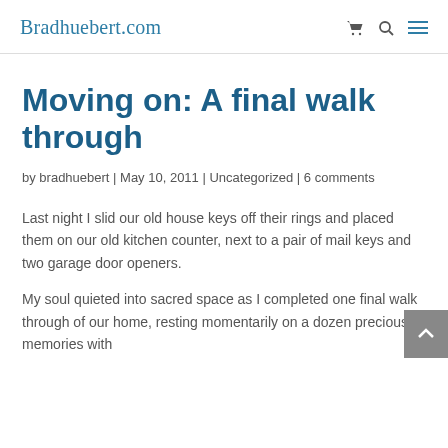Bradhuebert.com
Moving on: A final walk through
by bradhuebert | May 10, 2011 | Uncategorized | 6 comments
Last night I slid our old house keys off their rings and placed them on our old kitchen counter, next to a pair of mail keys and two garage door openers.
My soul quieted into sacred space as I completed one final walk through of our home, resting momentarily on a dozen precious memories with